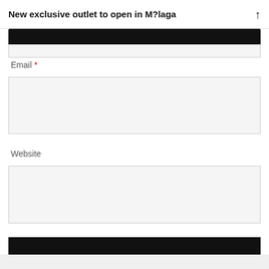New exclusive outlet to open in M?laga
Email *
Website
POST COMMENT